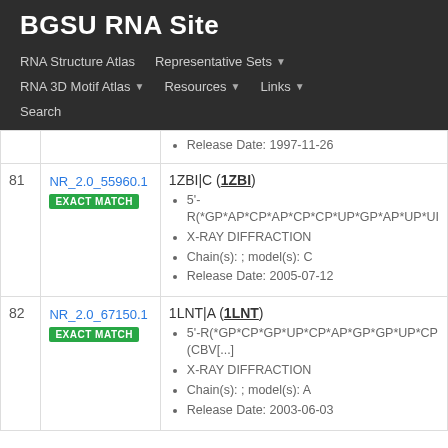BGSU RNA Site
RNA Structure Atlas | Representative Sets ▼ | RNA 3D Motif Atlas ▼ | Resources ▼ | Links ▼ | Search
| # | ID / Match | Details |
| --- | --- | --- |
|  |  | Release Date: 1997-11-26 |
| 81 | NR_2.0_55960.1 EXACT MATCH | 1ZBI|C (1ZBI)
5'-R(*GP*AP*CP*AP*CP*CP*UP*GP*AP*UP*UI...
X-RAY DIFFRACTION
Chain(s): ; model(s): C
Release Date: 2005-07-12 |
| 82 | NR_2.0_67150.1 EXACT MATCH | 1LNT|A (1LNT)
5'-R(*GP*CP*GP*UP*CP*AP*GP*GP*UP*CP... (CBV[...]
X-RAY DIFFRACTION
Chain(s): ; model(s): A
Release Date: 2003-06-03 |